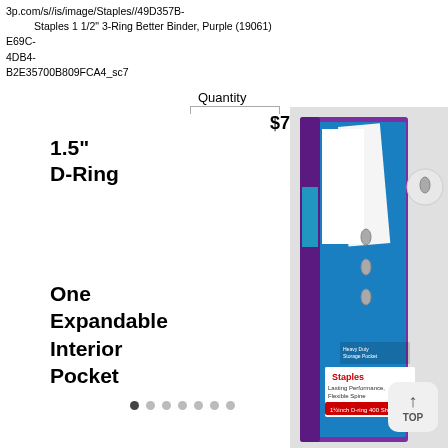3p.com/s//is/image/Staples//49D357B-E69C-
Staples 1 1/2" 3-Ring Better Binder, Purple (19061)
4DB4-
B2E35700B809FCA4_sc7
Quantity
$7.50
1
Add to cart
1.5"
D-Ring
[Figure (photo): Staples 1 1/2 inch 3-Ring Better Binder in Purple color, product packaging shown with binder open displaying D-ring mechanism, features Lasting Performance Flexible Spine, 400 sheet capacity]
One
Expandable
Interior
Pocket
TOP